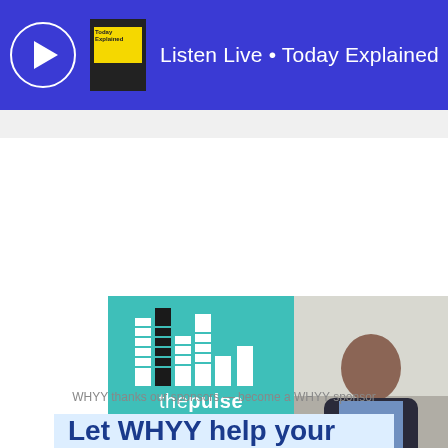[Figure (screenshot): Blue top bar with play button circle, book cover thumbnail, and 'Listen Live · Today Explained' text in white on dark blue background]
[Figure (illustration): The Pulse radio show promotional card: teal left half with equalizer bar logo, 'thepulse' text, tagline 'At the heart of health and science', 'FRIDAYS | 9 AM WHYY-FM 90.9'; right half shows photo of host Maiken Scott with 'Hosted by Maiken Scott' text]
WHYY thanks our sponsors — become a WHYY sponsor
Let WHYY help your